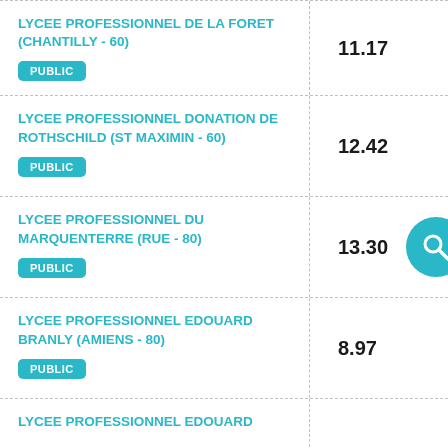LYCEE PROFESSIONNEL DE LA FORET (CHANTILLY - 60)
PUBLIC
11.17
LYCEE PROFESSIONNEL DONATION DE ROTHSCHILD (ST MAXIMIN - 60)
PUBLIC
12.42
LYCEE PROFESSIONNEL DU MARQUENTERRE (RUE - 80)
PUBLIC
13.30
LYCEE PROFESSIONNEL EDOUARD BRANLY (AMIENS - 80)
PUBLIC
8.97
LYCEE PROFESSIONNEL EDOUARD (partial)